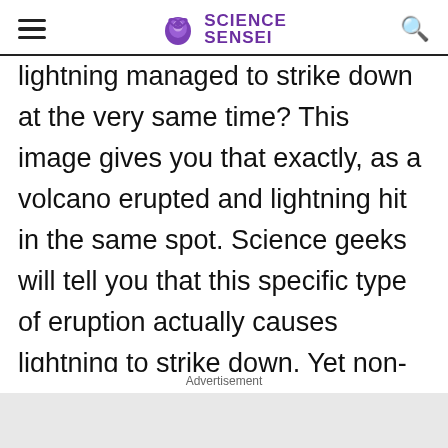SCIENCE SENSEI
lightning managed to strike down at the very same time? This image gives you that exactly, as a volcano erupted and lightning hit in the same spot. Science geeks will tell you that this specific type of eruption actually causes lightning to strike down. Yet non-science people will tell you it was the Nature Gods getting angry with us and showing off their power to keep us in line
Advertisement